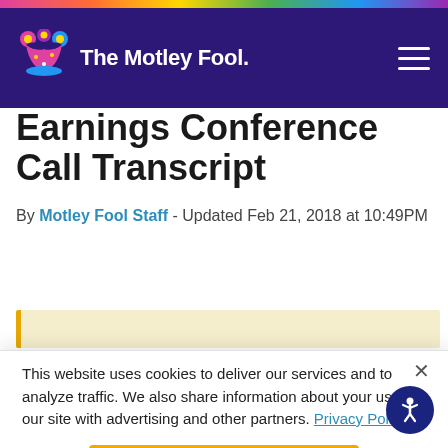The Motley Fool
Earnings Conference Call Transcript
By Motley Fool Staff - Updated Feb 21, 2018 at 10:49PM
This website uses cookies to deliver our services and to analyze traffic. We also share information about your use of our site with advertising and other partners. Privacy Policy
Got it
Cookie Settings